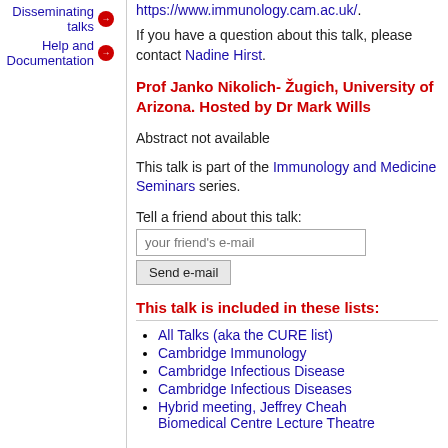Disseminating talks
Help and Documentation
https://www.immunology.cam.ac.uk/.
If you have a question about this talk, please contact Nadine Hirst.
Prof Janko Nikolich- Žugich, University of Arizona. Hosted by Dr Mark Wills
Abstract not available
This talk is part of the Immunology and Medicine Seminars series.
Tell a friend about this talk:
This talk is included in these lists:
All Talks (aka the CURE list)
Cambridge Immunology
Cambridge Infectious Disease
Cambridge Infectious Diseases
Hybrid meeting, Jeffrey Cheah Biomedical Centre Lecture Theatre